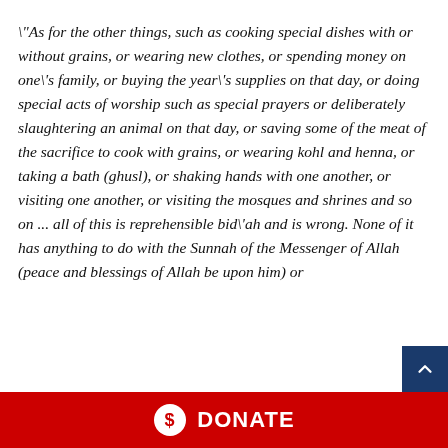"As for the other things, such as cooking special dishes with or without grains, or wearing new clothes, or spending money on one's family, or buying the year's supplies on that day, or doing special acts of worship such as special prayers or deliberately slaughtering an animal on that day, or saving some of the meat of the sacrifice to cook with grains, or wearing kohl and henna, or taking a bath (ghusl), or shaking hands with one another, or visiting one another, or visiting the mosques and shrines and so on ... all of this is reprehensible bid'ah and is wrong. None of it has anything to do with the Sunnah of the Messenger of Allah (peace and blessings of Allah be upon him) or
DONATE